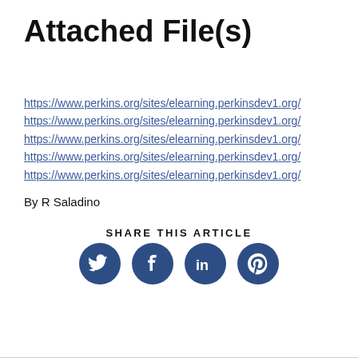Attached File(s)
https://www.perkins.org/sites/elearning.perkinsdev1.org/
https://www.perkins.org/sites/elearning.perkinsdev1.org/
https://www.perkins.org/sites/elearning.perkinsdev1.org/
https://www.perkins.org/sites/elearning.perkinsdev1.org/
https://www.perkins.org/sites/elearning.perkinsdev1.org/
By R Saladino
SHARE THIS ARTICLE
[Figure (infographic): Four circular social media share buttons: Twitter, Facebook, LinkedIn, Pinterest — dark navy blue circles with white icons]